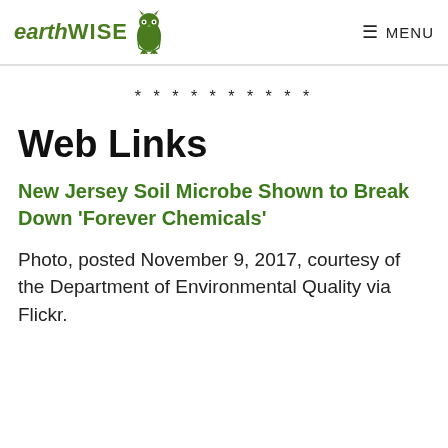earthWISE [owl logo] MENU
* * * * * * * * * *
Web Links
New Jersey Soil Microbe Shown to Break Down 'Forever Chemicals'
Photo, posted November 9, 2017, courtesy of the Department of Environmental Quality via Flickr.